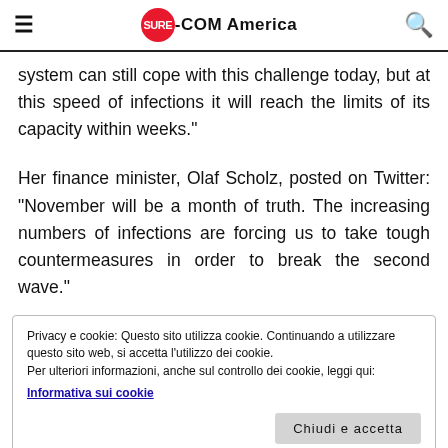SURE-COM America
system can still cope with this challenge today, but at this speed of infections it will reach the limits of its capacity within weeks."
Her finance minister, Olaf Scholz, posted on Twitter: "November will be a month of truth. The increasing numbers of infections are forcing us to take tough countermeasures in order to break the second wave."
Privacy e cookie: Questo sito utilizza cookie. Continuando a utilizzare questo sito web, si accetta l'utilizzo dei cookie.
Per ulteriori informazioni, anche sul controllo dei cookie, leggi qui:
Informativa sui cookie
Chiudi e accetta
setting records with six days to go until Election Day